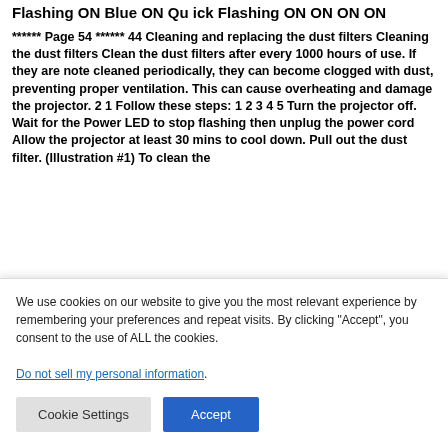Flashing ON Blue ON Qu ick Flashing ON ON ON ON
****** Page 54 ****** 44 Cleaning and replacing the dust filters Cleaning the dust filters Clean the dust filters after every 1000 hours of use. If they are note cleaned periodically, they can become clogged with dust, preventing proper ventilation. This can cause overheating and damage the projector. 2 1 Follow these steps: 1 2 3 4 5 Turn the projector off. Wait for the Power LED to stop flashing then unplug the power cord Allow the projector at least 30 mins to cool down. Pull out the dust filter. (Illustration #1) To clean the
We use cookies on our website to give you the most relevant experience by remembering your preferences and repeat visits. By clicking "Accept", you consent to the use of ALL the cookies.
Do not sell my personal information.